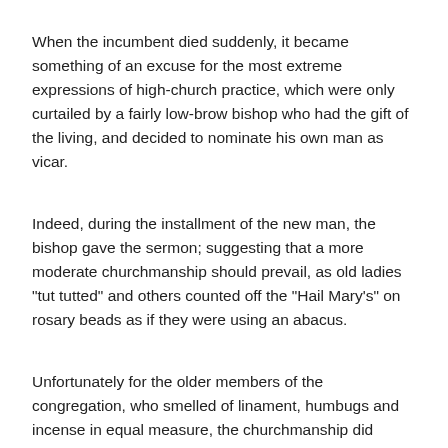When the incumbent died suddenly, it became something of an excuse for the most extreme expressions of high-church practice, which were only curtailed by a fairly low-brow bishop who had the gift of the living, and decided to nominate his own man as vicar.
Indeed, during the installment of the new man, the bishop gave the sermon; suggesting that a more moderate churchmanship should prevail, as old ladies "tut tutted" and others counted off the "Hail Mary's" on rosary beads as if they were using an abacus.
Unfortunately for the older members of the congregation, who smelled of linament, humbugs and incense in equal measure, the churchmanship did indeed slide down the ecclestiastical scale a notch or two.